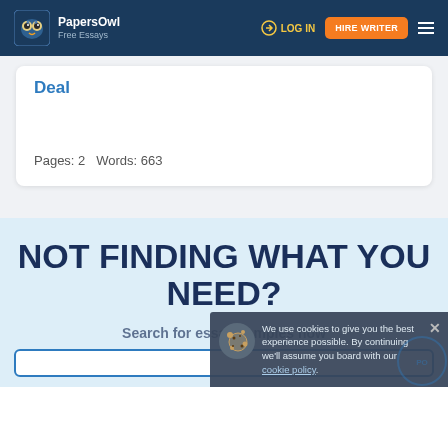PapersOwl Free Essays | LOG IN | HIRE WRITER
Deal
Pages: 2   Words: 663
NOT FINDING WHAT YOU NEED?
Search for essay samples now
We use cookies to give you the best experience possible. By continuing we'll assume you board with our cookie policy.